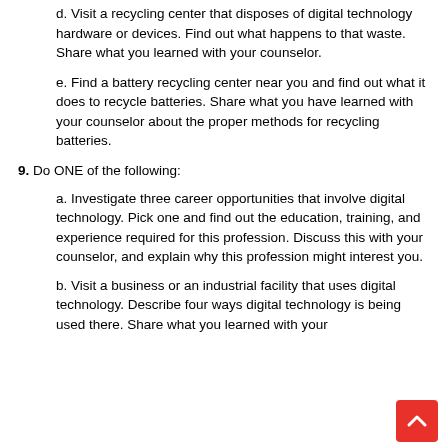d. Visit a recycling center that disposes of digital technology hardware or devices. Find out what happens to that waste. Share what you learned with your counselor.
e. Find a battery recycling center near you and find out what it does to recycle batteries. Share what you have learned with your counselor about the proper methods for recycling batteries.
9. Do ONE of the following:
a. Investigate three career opportunities that involve digital technology. Pick one and find out the education, training, and experience required for this profession. Discuss this with your counselor, and explain why this profession might interest you.
b. Visit a business or an industrial facility that uses digital technology. Describe four ways digital technology is being used there. Share what you learned with your